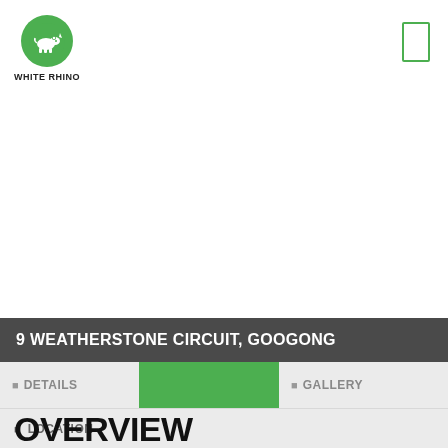[Figure (logo): White Rhino logo: green circle with white rhino silhouette, text WHITE RHINO below]
9 WEATHERSTONE CIRCUIT, GOOGONG
DETAILS
GALLERY
LOCATION
OVERVIEW